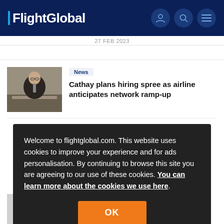FlightGlobal
27 FEB 2023
[Figure (photo): Man in suit sitting at a desk, gesturing while speaking]
News
Cathay plans hiring spree as airline anticipates network ramp-up
Welcome to flightglobal.com. This website uses cookies to improve your experience and for ads personalisation. By continuing to browse this site you are agreeing to our use of these cookies. You can learn more about the cookies we use here.
OK
[Figure (photo): Partially visible profile placeholder image for second article]
News
PAL hopeful of China reopening as